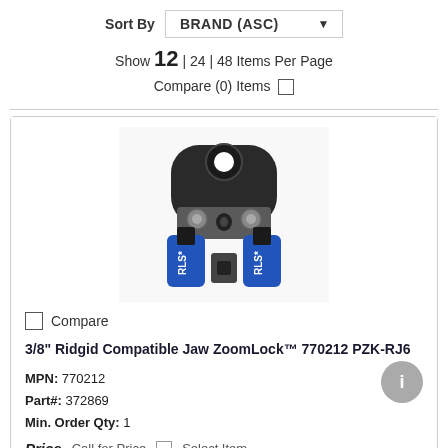Sort By  BRAND (ASC) ▼
Show 12 | 24 | 48 Items Per Page
Compare (0) Items □
[Figure (photo): 3/8 inch Ridgid Compatible Jaw ZoomLock tool part with blue and black clamp jaws labeled RLS]
Compare
3/8" Ridgid Compatible Jaw ZoomLock™ 770212 PZK-RJ6
MPN: 770212
Part#: 372869
Min. Order Qty: 1
Price  Call for Price   Select Item